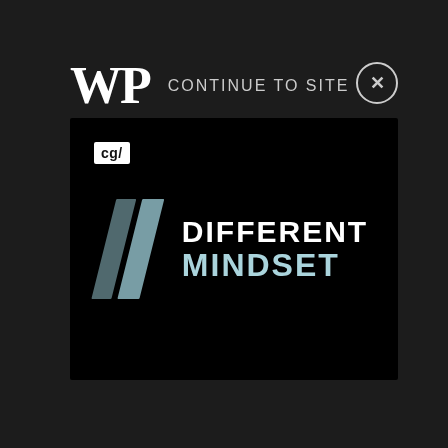[Figure (logo): WP (Washington Post) logo in white serif bold font on dark background]
CONTINUE TO SITE
[Figure (screenshot): Advertisement for 'Different Mindset' featuring cg/ badge at top left, two diagonal slash marks in light blue, and text DIFFERENT MINDSET in white/light blue on black background]